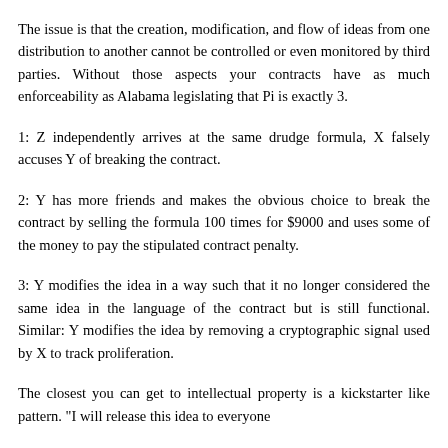The issue is that the creation, modification, and flow of ideas from one distribution to another cannot be controlled or even monitored by third parties. Without those aspects your contracts have as much enforceability as Alabama legislating that Pi is exactly 3.
1: Z independently arrives at the same drudge formula, X falsely accuses Y of breaking the contract.
2: Y has more friends and makes the obvious choice to break the contract by selling the formula 100 times for $9000 and uses some of the money to pay the stipulated contract penalty.
3: Y modifies the idea in a way such that it no longer considered the same idea in the language of the contract but is still functional. Similar: Y modifies the idea by removing a cryptographic signal used by X to track proliferation.
The closest you can get to intellectual property is a kickstarter like pattern. "I will release this idea to everyone